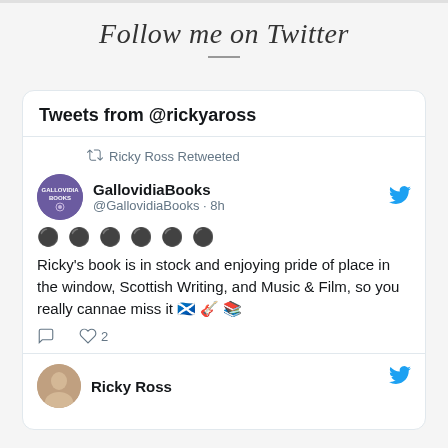Follow me on Twitter
[Figure (screenshot): Twitter widget showing tweets from @rickyaross. Contains a retweet from GallovidiaBooks @GallovidiaBooks 8h ago with text: Ricky's book is in stock and enjoying pride of place in the window, Scottish Writing, and Music & Film, so you really cannae miss it 🏴󠁧󠁢󠁳󠁣󠁴󠁿🎸📚 with 2 likes. Below is a partial view of a Ricky Ross tweet.]